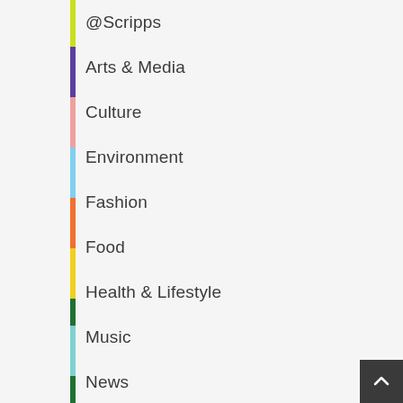@Scripps
Arts & Media
Culture
Environment
Fashion
Food
Health & Lifestyle
Music
News
Opinion
Politics